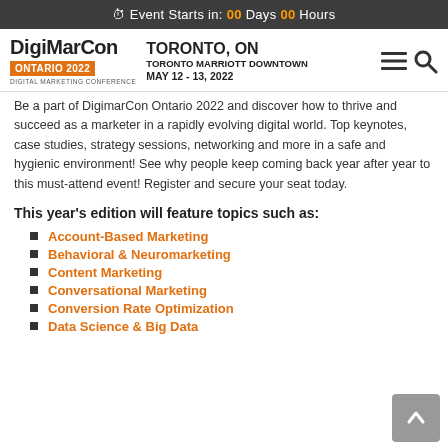Event Starts in: 00 Days 00 Hours
[Figure (logo): DigiMarCon Ontario 2022 Digital Marketing Conference logo with orange badge]
TORONTO, ON
TORONTO MARRIOTT DOWNTOWN
MAY 12 - 13, 2022
Be a part of DigimarCon Ontario 2022 and discover how to thrive and succeed as a marketer in a rapidly evolving digital world. Top keynotes, case studies, strategy sessions, networking and more in a safe and hygienic environment! See why people keep coming back year after year to this must-attend event! Register and secure your seat today.
This year's edition will feature topics such as:
Account-Based Marketing
Behavioral & Neuromarketing
Content Marketing
Conversational Marketing
Conversion Rate Optimization
Data Science & Big Data